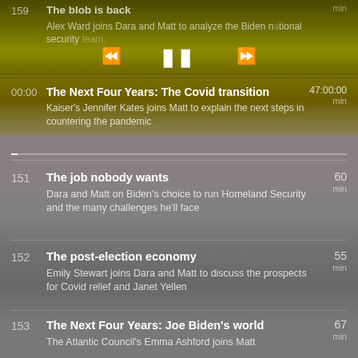150 The blob is back — Alex Ward joins Dara and Matt to analyze the Biden national security team. 38 min
[Figure (screenshot): Audio player controls showing rewind, pause, and fast-forward buttons]
The Next Four Years: The Covid transition — Kaiser's Jennifer Kates joins Matt to explain the next steps in countering the pandemic. 47:00:00 min — 00:00 timestamp shown
151 The job nobody wants — Dara and Matt on Biden's choice to run Homeland Security and the many challenges he'll face. 60 min
152 The post-election economy — Emily Stewart joins Dara and Matt to discuss the prospects for Covid relief and Janet Yellen. 55 min
153 The Next Four Years: Joe Biden's world — The Atlantic Council's Emma Ashford joins Matt to explain the president-elect's approach to national security. 67 min
154 Georgia on my mind — Ella Nilsen joins Dara and Matt to break down the runoff elections that will determine the future of the US Senate. 46 min